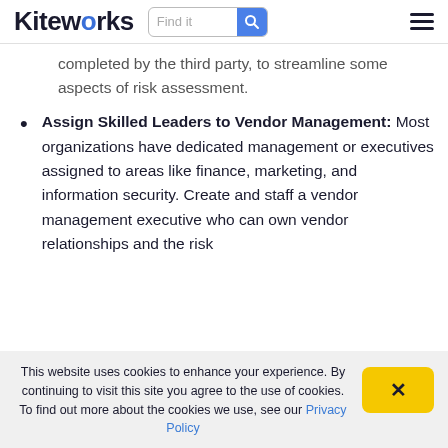Kiteworks | Find it [search] [menu]
completed by the third party, to streamline some aspects of risk assessment.
Assign Skilled Leaders to Vendor Management: Most organizations have dedicated management or executives assigned to areas like finance, marketing, and information security. Create and staff a vendor management executive who can own vendor relationships and the risk
This website uses cookies to enhance your experience. By continuing to visit this site you agree to the use of cookies. To find out more about the cookies we use, see our Privacy Policy